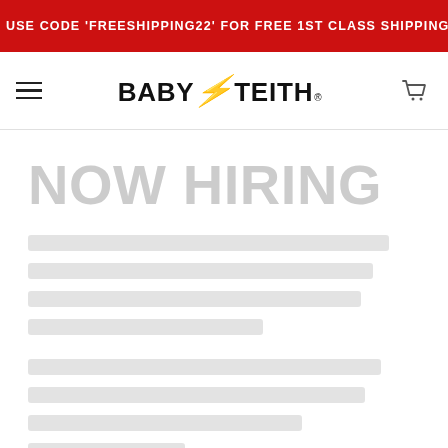USE CODE 'FREESHIPPING22' FOR FREE 1ST CLASS SHIPPING ON ALL U
[Figure (logo): BabyTeith logo with red lightning bolt between BABY and TEITH, with navigation hamburger menu on left and cart icon on right]
NOW HIRING
[Blurred/redacted body text lines not legible]